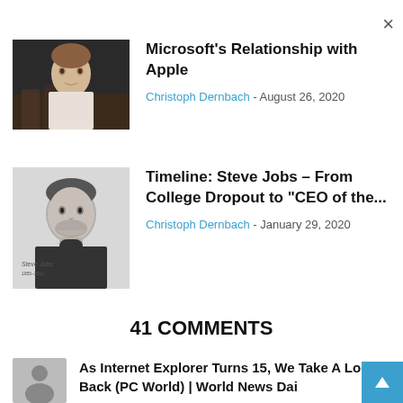[Figure (screenshot): Close button (×) in top right corner]
[Figure (photo): Thumbnail photo of a man (Bill Gates) in a white shirt, seated, against dark background]
Microsoft's Relationship with Apple
Christoph Dernbach - August 26, 2020
[Figure (photo): Thumbnail photo of Steve Jobs in black turtleneck, black and white portrait with 'Steve Jobs 1955-2011' text]
Timeline: Steve Jobs – From College Dropout to "CEO of the...
Christoph Dernbach - January 29, 2020
41 COMMENTS
[Figure (photo): Generic user avatar silhouette icon in gray]
As Internet Explorer Turns 15, We Take A Look Back (PC World) | World News Dai